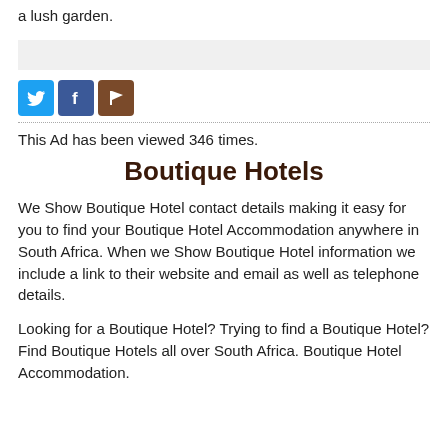a lush garden.
[Figure (other): Gray horizontal banner/ad bar]
[Figure (other): Social media icons: Twitter (blue bird), Facebook (blue f), Flag (brown)]
This Ad has been viewed 346 times.
Boutique Hotels
We Show Boutique Hotel contact details making it easy for you to find your Boutique Hotel Accommodation anywhere in South Africa. When we Show Boutique Hotel information we include a link to their website and email as well as telephone details.
Looking for a Boutique Hotel? Trying to find a Boutique Hotel? Find Boutique Hotels all over South Africa. Boutique Hotel Accommodation.